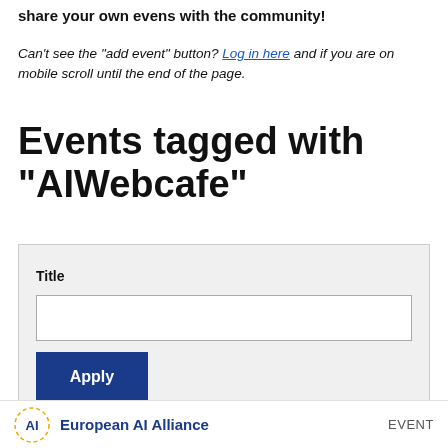share your own evens with the community!
Can't see the "add event" button? Log in here and if you are on mobile scroll until the end of the page.
Events tagged with "AIWebcafe"
Title [input field] Apply
European AI Alliance   EVENT